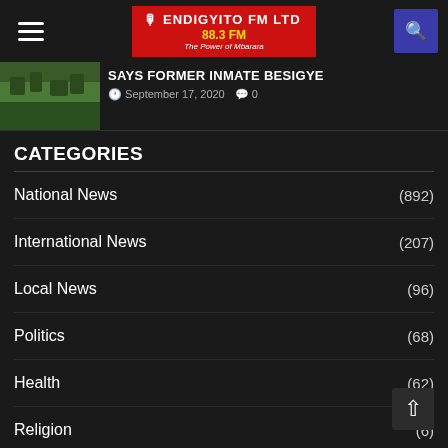[Figure (logo): Endigyito FM LTD 88.3 FM The Power of Mbarara logo on red background]
[Figure (photo): Thumbnail photo of a green landscape/hillside]
SAYS FORMER INMATE BESIGYE
September 17, 2020  0
CATEGORIES
National News (892)
International News (207)
Local News (96)
Politics (68)
Health (62)
Religion (6)
Sports News (2)